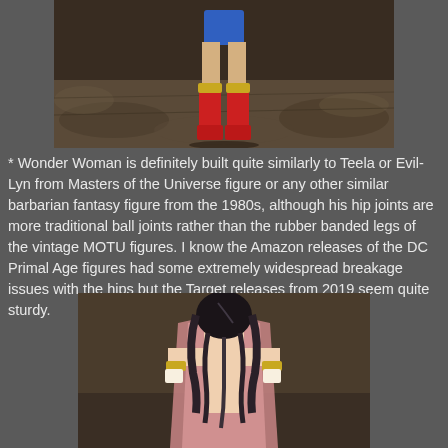[Figure (photo): Close-up photo of a Wonder Woman action figure's lower body showing legs in blue shorts, red boots with yellow knee guards, standing on a stone floor background]
* Wonder Woman is definitely built quite similarly to Teela or Evil-Lyn from Masters of the Universe figure or any other similar barbarian fantasy figure from the 1980s, although his hip joints are more traditional ball joints rather than the rubber banded legs of the vintage MOTU figures. I know the Amazon releases of the DC Primal Age figures had some extremely widespread breakage issues with the hips but the Target releases from 2019 seem quite sturdy.
[Figure (photo): Photo of the back of a Wonder Woman action figure showing long dark hair and a pink/mauve cape, with golden wristbands visible]